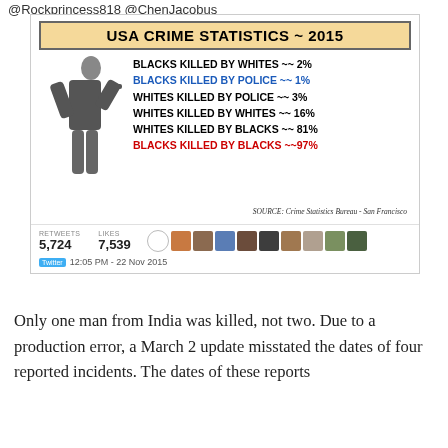@Rockprincess818 @ChenJacobus
[Figure (infographic): Tweet screenshot containing an infographic titled 'USA CRIME STATISTICS ~ 2015' with a silhouette figure and crime statistics: BLACKS KILLED BY WHITES ~~ 2%, BLACKS KILLED BY POLICE ~~ 1%, WHITES KILLED BY POLICE ~~ 3%, WHITES KILLED BY WHITES ~~ 16%, WHITES KILLED BY BLACKS ~~ 81%, BLACKS KILLED BY BLACKS ~~ 97%. Source: Crime Statistics Bureau - San Francisco. Tweet shows 5,724 retweets and 7,539 likes, timestamped 12:05 PM - 22 Nov 2015.]
Only one man from India was killed, not two. Due to a production error, a March 2 update misstated the dates of four reported incidents. The dates of these reports